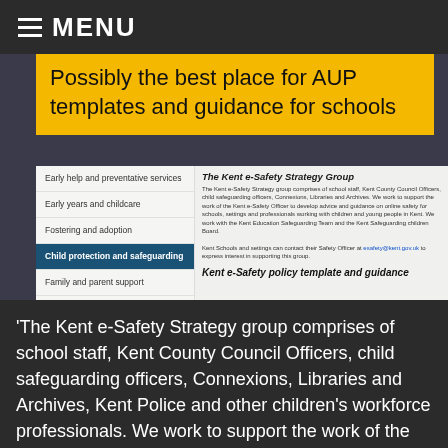MENU
Possibly the best place for AUP templates and guidance for schools
[Figure (screenshot): Screenshot of Kent e-Safety website showing navigation menu with items: Early help and preventative services, Early years and childcare, Fostering and adoption, Child protection and safeguarding (active/highlighted), Family and parent support. Main content area shows 'The Kent e-Safety Strategy Group' heading with descriptive text and 'Kent e-Safety policy template and guidance' subheading.]
'The Kent e-Safety Strategy group comprises of school staff, Kent County Council Officers, child safeguarding officers, Connexions, Libraries and Archives, Kent Police and other children's workforce professionals. We work to support the work of the Kent e-Safety Officer to develop advice and guidance on online safety for schools, settings and professionals working with children and young